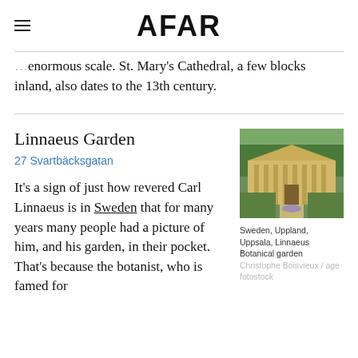AFAR
…approaching on an enormous scale. St. Mary's Cathedral, a few blocks inland, also dates to the 13th century.
Linnaeus Garden
27 Svartbäcksgatan
It's a sign of just how revered Carl Linnaeus is in Sweden that for many years many people had a picture of him, and his garden, in their pocket. That's because the botanist, who is famed for
[Figure (photo): Yellow neoclassical building with columns and formal garden, Linnaeus Botanical Garden, Uppsala, Sweden]
Sweden, Uppland, Uppsala, Linnaeus Botanical garden Christophe Boisvieux / age fotostock